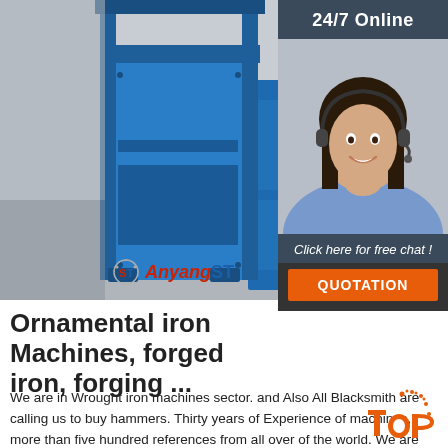[Figure (photo): Blue industrial forging/hammer machine (Anyang ST brand) on a factory floor, viewed at an angle showing the front and side panels with metal frame and control components]
Ornamental iron Machines, forged iron, forging ...
We are in Wrought iron machines sector. and Also All Blacksmith are calling us to buy hammers. Thirty years of Experience of machines, more than five hundred references from all over of the world. We are with you while you buying the machines from Turkey. We are making the research of factories, checking the machine's